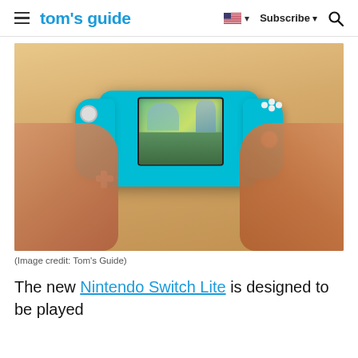tom's guide | Subscribe
[Figure (photo): Hands holding a turquoise Nintendo Switch Lite displaying a game (Zelda: Breath of the Wild) on its screen, placed on a wooden surface.]
(Image credit: Tom's Guide)
The new Nintendo Switch Lite is designed to be played